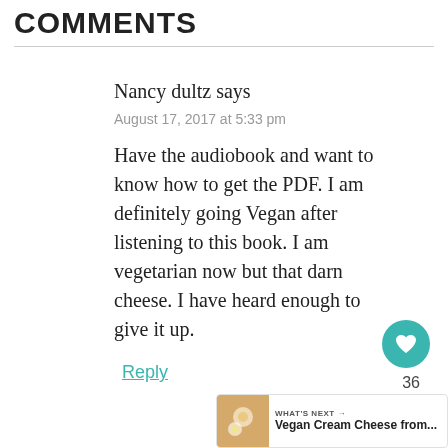COMMENTS
Nancy dultz says
August 17, 2017 at 5:33 pm
Have the audiobook and want to know how to get the PDF. I am definitely going Vegan after listening to this book. I am vegetarian now but that darn cheese. I have heard enough to give it up.
Reply